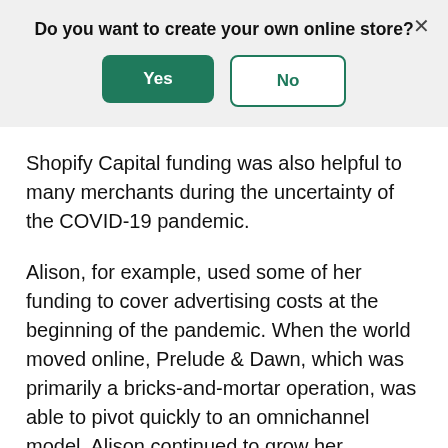[Figure (screenshot): A modal dialog banner with a gray background asking 'Do you want to create your own online store?' with a green 'Yes' button and a white 'No' button with green border, and an X close button in the top right.]
Shopify Capital funding was also helpful to many merchants during the uncertainty of the COVID-19 pandemic.
Alison, for example, used some of her funding to cover advertising costs at the beginning of the pandemic. When the world moved online, Prelude & Dawn, which was primarily a bricks-and-mortar operation, was able to pivot quickly to an omnichannel model. Alison continued to grow her presence on social media